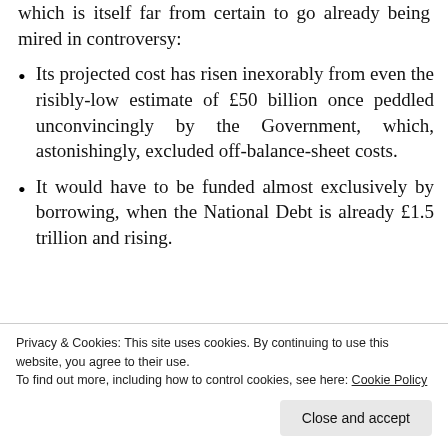which is itself far from certain to go already being mired in controversy:
Its projected cost has risen inexorably from even the risibly-low estimate of £50 billion once peddled unconvincingly by the Government, which, astonishingly, excluded off-balance-sheet costs.
It would have to be funded almost exclusively by borrowing, when the National Debt is already £1.5 trillion and rising.
Privacy & Cookies: This site uses cookies. By continuing to use this website, you agree to their use.
To find out more, including how to control cookies, see here: Cookie Policy